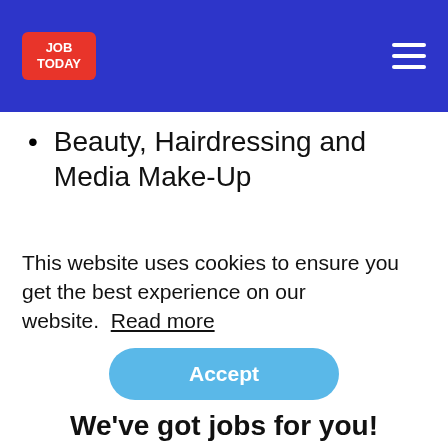JOB TODAY
Beauty, Hairdressing and Media Make-Up
Fashion, Media and TV Make-Up and Hair
Of course, you could always enter at the first rung of the ladder and work your way
This website uses cookies to ensure you get the best experience on our website. Read more
Accept
We've got jobs for you!